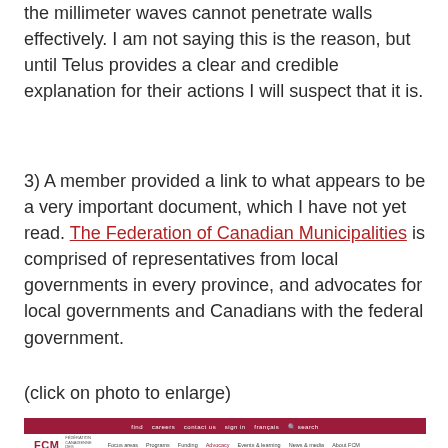the millimeter waves cannot penetrate walls effectively. I am not saying this is the reason, but until Telus provides a clear and credible explanation for their actions I will suspect that it is.
3) A member provided a link to what appears to be a very important document, which I have not yet read. The Federation of Canadian Municipalities is comprised of representatives from local governments in every province, and advocates for local governments and Canadians with the federal government.
(click on photo to enlarge)
[Figure (screenshot): Screenshot of the Federation of Canadian Municipalities (FCM) website showing the FCM logo, navigation bar with links including Focus areas, Programs, Funding, Advocacy, Events & learning, News & media, About FCM, and a photo of a 5G telecommunications tower against a blue sky.]